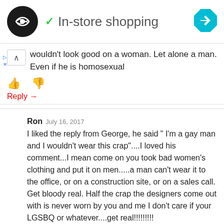[Figure (screenshot): Ad banner with circular logo, checkmark, text 'In-store shopping', and a blue diamond arrow icon on the right. Small play and close icons in lower left.]
wouldn't look good on a woman. Let alone a man. Even if he is homosexual
👍 👎 Reply →
Ron July 16, 2017
I liked the reply from George, he said " I'm a gay man and I wouldn't wear this crap"....I loved his comment...I mean come on you took bad women's clothing and put it on men.....a man can't wear it to the office, or on a construction site, or on a sales call. Get bloody real. Half the crap the designers come out with is never worn by you and me I don't care if your LGSBQ or whatever....get real!!!!!!!!!